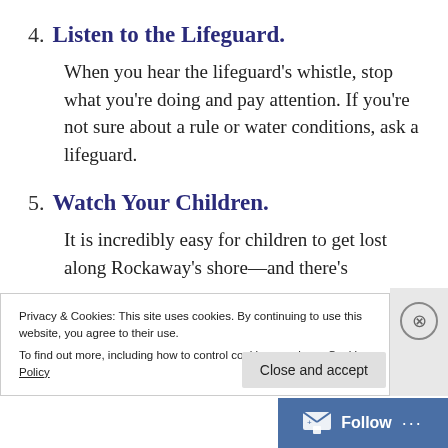4. Listen to the Lifeguard.
When you hear the lifeguard’s whistle, stop what you’re doing and pay attention. If you’re not sure about a rule or water conditions, ask a lifeguard.
5. Watch Your Children.
It is incredibly easy for children to get lost along Rockaway’s shore—and there’s
Privacy & Cookies: This site uses cookies. By continuing to use this website, you agree to their use.
To find out more, including how to control cookies, see here: Cookie Policy
Close and accept
Follow